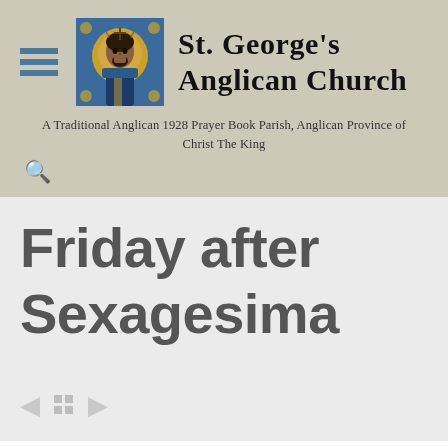[Figure (logo): St. George's Anglican Church logo with icon of Christ and church name]
A Traditional Anglican 1928 Prayer Book Parish, Anglican Province of Christ The King
Friday after Sexagesima